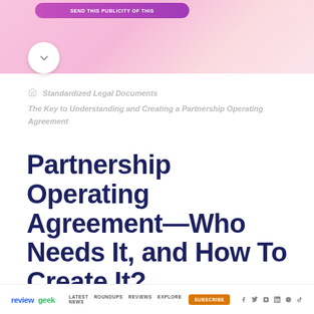[Figure (screenshot): Pink/purple gradient banner with a purple pill-shaped button and a white circle chevron/down arrow button]
Standardized Legal Documents
The Key to Understanding and Creating a Partnership Operating Agreement
Partnership Operating Agreement—Who Needs It, and How To Create It?
reviewgeek  LATEST NEWS  ROUNDUPS  REVIEWS  EXPLORE  SUBSCRIBE